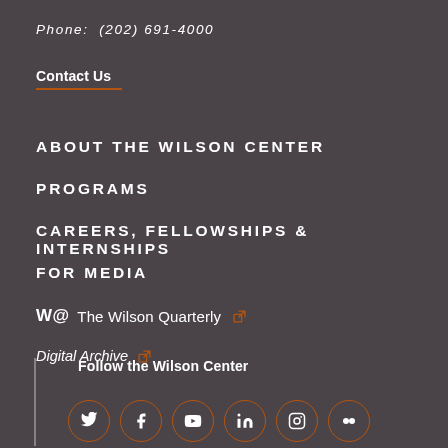Phone:  (202) 691-4000
Contact Us
ABOUT THE WILSON CENTER
PROGRAMS
CAREERS, FELLOWSHIPS & INTERNSHIPS
FOR MEDIA
W@ The Wilson Quarterly [external link]
Digital Archive [external link]
Follow the Wilson Center
[Figure (other): Social media icons in orange circles: Twitter, Facebook, YouTube, LinkedIn, Instagram, Flickr]